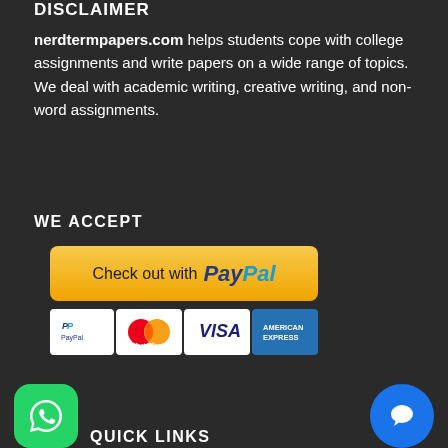DISCLAIMER
nerdtermpapers.com helps students cope with college assignments and write papers on a wide range of topics. We deal with academic writing, creative writing, and non-word assignments.
WE ACCEPT
[Figure (logo): PayPal checkout button (yellow/gold background with 'Check out with PayPal' text) and payment icons row showing PayPal, MasterCard, Visa, and American Express logos]
[Figure (logo): WhatsApp icon button (green rounded square with white phone icon)]
[Figure (logo): Chat/messenger button (blue circle with white chat bubble icon)]
QUICK LINKS